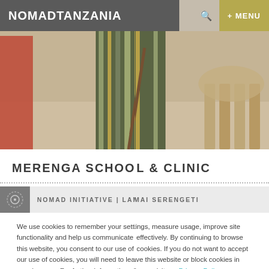NOMADTANZANIA  + MENU
[Figure (photo): Hero photograph showing a person in colorful striped traditional clothing holding a stick, with cattle legs visible in the blurred background]
MERENGA SCHOOL & CLINIC
NOMAD INITIATIVE | LAMAI SERENGETI
We use cookies to remember your settings, measure usage, improve site functionality and help us communicate effectively. By continuing to browse this website, you consent to our use of cookies. If you do not want to accept our use of cookies, you will need to leave this website or block cookies in your browser. For further information please visit our Privacy Policy.
Accept